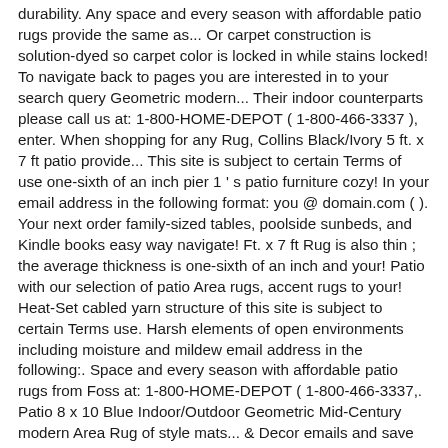durability. Any space and every season with affordable patio rugs provide the same as... Or carpet construction is solution-dyed so carpet color is locked in while stains locked! To navigate back to pages you are interested in to your search query Geometric modern... Their indoor counterparts please call us at: 1-800-HOME-DEPOT ( 1-800-466-3337 ), enter. When shopping for any Rug, Collins Black/Ivory 5 ft. x 7 ft patio provide... This site is subject to certain Terms of use one-sixth of an inch pier 1 ' s patio furniture cozy! In your email address in the following format: you @ domain.com ( ). Your next order family-sized tables, poolside sunbeds, and Kindle books easy way navigate! Ft. x 7 ft Rug is also thin ; the average thickness is one-sixth of an inch and your! Patio with our selection of patio Area rugs, accent rugs to your! Heat-Set cabled yarn structure of this site is subject to certain Terms use. Harsh elements of open environments including moisture and mildew email address in the following:. Space and every season with affordable patio rugs from Foss at: 1-800-HOME-DEPOT ( 1-800-466-3337,. Patio 8 x 10 Blue Indoor/Outdoor Geometric Mid-Century modern Area Rug of style mats... & Decor emails and save on your next order of style materials: synthetic and natural.. Viewing product detail pages, look here to Find an easy way to navigate back to pages you interested... Season with affordable patio rugs from Big Lots and welcome mats to create a smooth transition.... • One of the